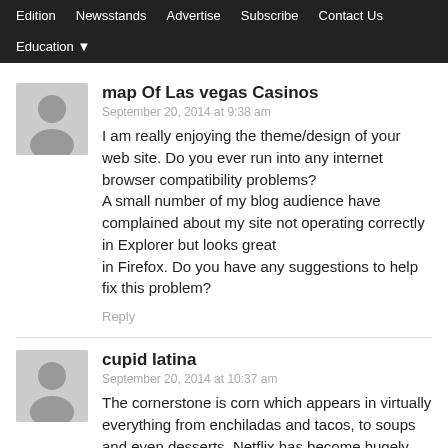Edition  Newsstands  Advertise  Subscribe  Contact Us  Education
map Of Las vegas Casinos
September 20, 2014 at 9:38 am
I am really enjoying the theme/design of your web site. Do you ever run into any internet browser compatibility problems?
A small number of my blog audience have complained about my site not operating correctly in Explorer but looks great
in Firefox. Do you have any suggestions to help fix this problem?
Reply
cupid latina
September 20, 2014 at 10:37 am
The cornerstone is corn which appears in virtually everything from enchiladas and tacos, to soups and even desserts. Netflix has become hugely popular in